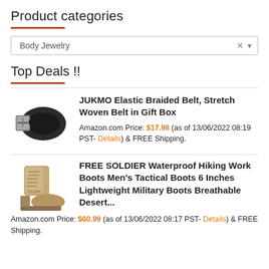Product categories
Body Jewelry
Top Deals !!
[Figure (photo): JUKMO elastic braided belt, black woven belt with silver buckle]
JUKMO Elastic Braided Belt, Stretch Woven Belt in Gift Box
Amazon.com Price: $17.98 (as of 13/06/2022 08:19 PST- Details) & FREE Shipping.
[Figure (photo): FREE SOLDIER tan/beige military tactical hiking boot, 6 inch high-top]
FREE SOLDIER Waterproof Hiking Work Boots Men's Tactical Boots 6 Inches Lightweight Military Boots Breathable Desert...
Amazon.com Price: $60.99 (as of 13/06/2022 08:17 PST- Details) & FREE Shipping.